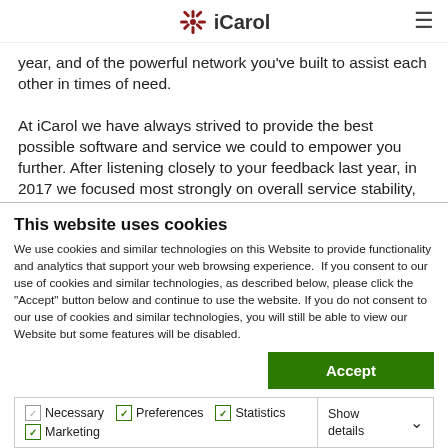iCarol
year, and of the powerful network you've built to assist each other in times of need.

At iCarol we have always strived to provide the best possible software and service we could to empower you further. After listening closely to your feedback last year, in 2017 we focused most strongly on overall service stability, product quality and in the addition of critical functionality to iCarol. We also wanted to ensure we built
This website uses cookies
We use cookies and similar technologies on this Website to provide functionality and analytics that support your web browsing experience.  If you consent to our use of cookies and similar technologies, as described below, please click the "Accept" button below and continue to use the website. If you do not consent to our use of cookies and similar technologies, you will still be able to view our Website but some features will be disabled.
Accept
Necessary   Preferences   Statistics   Marketing   Show details